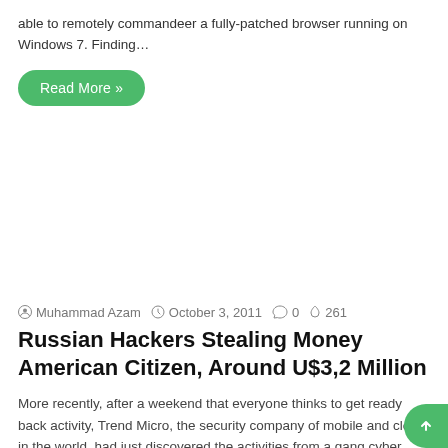able to remotely commandeer a fully-patched browser running on Windows 7. Finding…
Read More »
Muhammad Azam  October 3, 2011  0  261
Russian Hackers Stealing Money American Citizen, Around U$3,2 Million
More recently, after a weekend that everyone thinks to get ready back activity, Trend Micro, the security company of mobile and cloud in the world, had just discovered the activities from a gang cyber hackers from Russia by using SpyEye-Zeus Trojan to steal the money from U.S. citizens since January 2011, around U$ 3,2 million or approximately U$